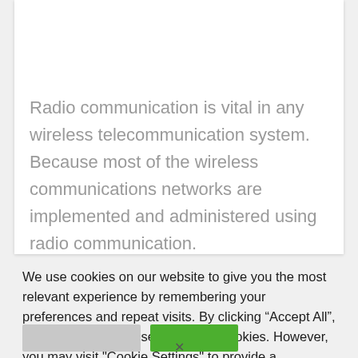Radio communication is vital in any wireless telecommunication system. Because most of the wireless communications networks are implemented and administered using radio communication.
We use cookies on our website to give you the most relevant experience by remembering your preferences and repeat visits. By clicking “Accept All”, you consent to the use of ALL the cookies. However, you may visit "Cookie Settings" to provide a controlled consent.